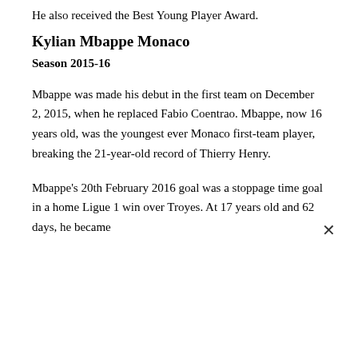He also received the Best Young Player Award.
Kylian Mbappe Monaco
Season 2015-16
Mbappe was made his debut in the first team on December 2, 2015, when he replaced Fabio Coentrao. Mbappe, now 16 years old, was the youngest ever Monaco first-team player, breaking the 21-year-old record of Thierry Henry.
Mbappe's 20th February 2016 goal was a stoppage time goal in a home Ligue 1 win over Troyes. At 17 years old and 62 days, he became